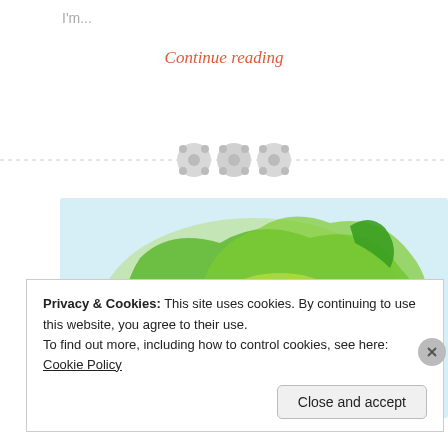I'm...
Continue reading
[Figure (illustration): Decorative divider with three circular button-like icons on a dashed horizontal line]
[Figure (illustration): Watercolor illustration of Australia map in green and yellow tones with text 'What is #PNDoz?' overlaid in dark green]
Privacy & Cookies: This site uses cookies. By continuing to use this website, you agree to their use. To find out more, including how to control cookies, see here: Cookie Policy
Close and accept